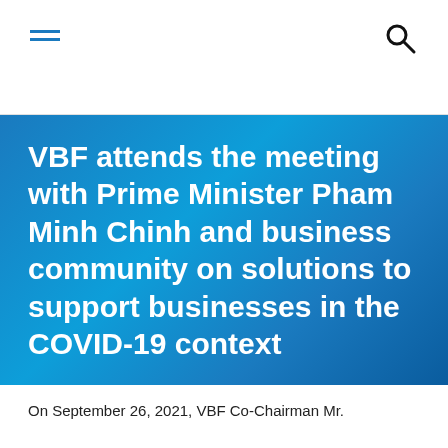≡  🔍
VBF attends the meeting with Prime Minister Pham Minh Chinh and business community on solutions to support businesses in the COVID-19 context
On September 26, 2021, VBF Co-Chairman Mr.